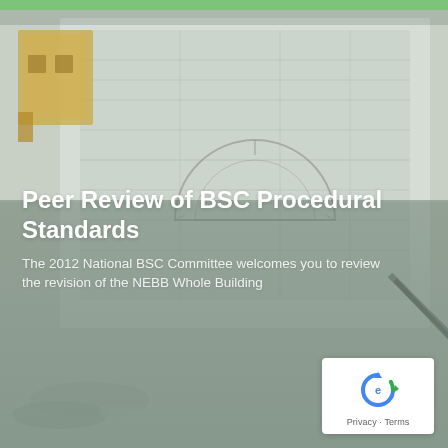[Figure (photo): Background photo of engineering blueprints/technical drawings spread on a desk, with a protractor, pencil, ruler, and a small architectural model visible. Greenish-grey tones with a slight dark overlay in the lower portion.]
Peer Review of BSC Procedural Standards
The 2012 National BSC Committee welcomes you to review the revision of the NEBB Whole Building
[Figure (logo): Google reCAPTCHA logo in blue/green arrow-cycle icon on a white rounded rectangle, with 'Privacy - Terms' text below.]